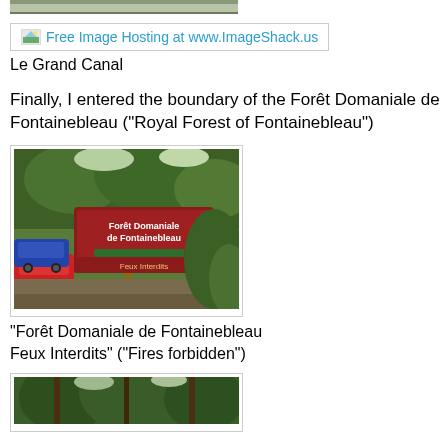[Figure (photo): Partial top of an image, cropped at top of page]
[Figure (screenshot): ImageShack free image hosting link/button with small icon]
Le Grand Canal
Finally, I entered the boundary of the Forêt Domaniale de Fontainebleau ("Royal Forest of Fontainebleau")
[Figure (photo): Photo of a forest entrance sign reading 'Forêt Domaniale de Fontainebleau / Feux Interdits' with cars parked nearby and trees in background]
"Forêt Domaniale de Fontainebleau Feux Interdits" ("Fires forbidden")
[Figure (photo): Partial photo of forest trees, cropped at bottom of page]